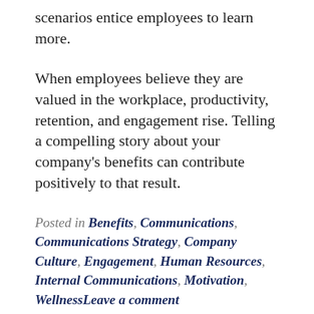scenarios entice employees to learn more.
When employees believe they are valued in the workplace, productivity, retention, and engagement rise. Telling a compelling story about your company's benefits can contribute positively to that result.
Posted in Benefits, Communications, Communications Strategy, Company Culture, Engagement, Human Resources, Internal Communications, Motivation, WellnessLeave a comment